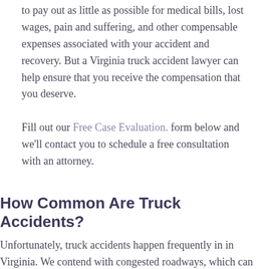to pay out as little as possible for medical bills, lost wages, pain and suffering, and other compensable expenses associated with your accident and recovery. But a Virginia truck accident lawyer can help ensure that you receive the compensation that you deserve.
Fill out our Free Case Evaluation. form below and we'll contact you to schedule a free consultation with an attorney.
How Common Are Truck Accidents?
Unfortunately, truck accidents happen frequently in in Virginia. We contend with congested roadways, which can lead to reckless driver behavior. Approximately 4,000 people die